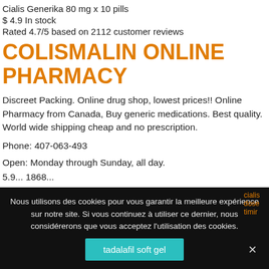Cialis Generika 80 mg x 10 pills
$ 4.9 In stock
Rated 4.7/5 based on 2112 customer reviews
COLISMALIN ONLINE PHARMACY
Discreet Packing. Online drug shop, lowest prices!! Online Pharmacy from Canada, Buy generic medications. Best quality. World wide shipping cheap and no prescription.
Phone: 407-063-493
Open: Monday through Sunday, all day.
5.9...1868...
Nous utilisons des cookies pour vous garantir la meilleure expérience sur notre site. Si vous continuez à utiliser ce dernier, nous considérerons que vous acceptez l'utilisation des cookies.
tadalafil soft gel